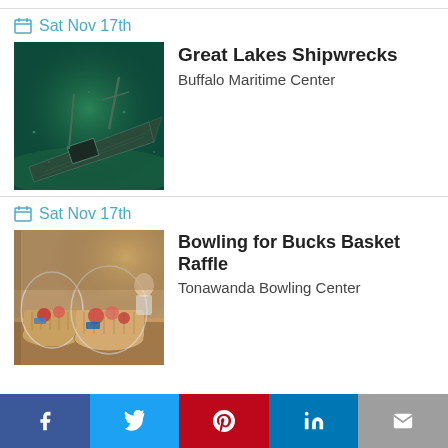Sat Nov 17th
Great Lakes Shipwrecks
Buffalo Maritime Center
[Figure (photo): Underwater photo of a shipwreck with green-tinted water, showing the deck and masts of a sunken vessel on the lake bottom]
Sat Nov 17th
Bowling for Bucks Basket Raffle
Tonawanda Bowling Center
[Figure (photo): Photo of gift baskets wrapped in cellophane arranged on a table at a bowling alley event]
Facebook | Twitter | Pinterest | LinkedIn | Email